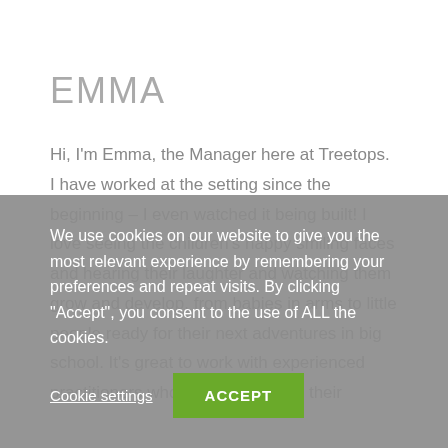EMMA
Hi, I'm Emma, the Manager here at Treetops. I have worked at the setting since the beginning – I even watched it being built! I love seeing the children's happy smiling faces and hearing their laughter and watching them grow and develop, from babies in arms to little people ready for their next adventures in big school. It's great to work with experienced practitioners who are dedicated in their
We use cookies on our website to give you the most relevant experience by remembering your preferences and repeat visits. By clicking "Accept", you consent to the use of ALL the cookies.
Cookie settings
ACCEPT